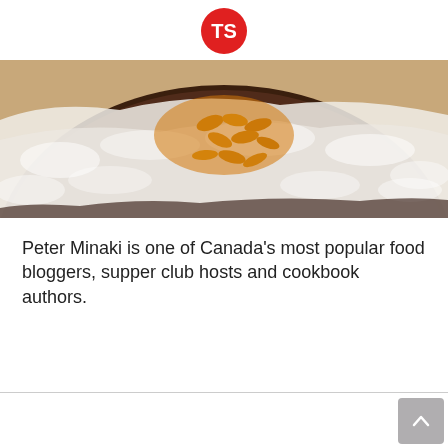TS logo
[Figure (photo): Close-up photo of a round chocolate cake dusted with powdered sugar and topped with sliced almonds arranged in a pattern]
Peter Minaki is one of Canada’s most popular food bloggers, supper club hosts and cookbook authors.